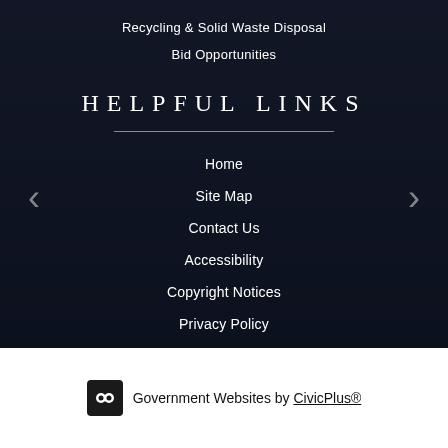Recycling & Solid Waste Disposal
Bid Opportunities
HELPFUL LINKS
Home
Site Map
Contact Us
Accessibility
Copyright Notices
Privacy Policy
Government Websites by CivicPlus®